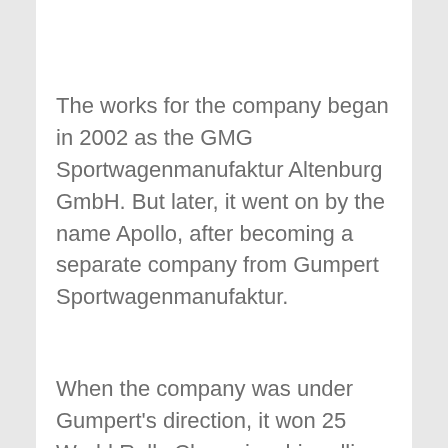The works for the company began in 2002 as the GMG Sportwagenmanufaktur Altenburg GmbH. But later, it went on by the name Apollo, after becoming a separate company from Gumpert Sportwagenmanufaktur.
When the company was under Gumpert's direction, it won 25 World Rally Championship rallies and some other World Rally Championships. But under Apollo, it